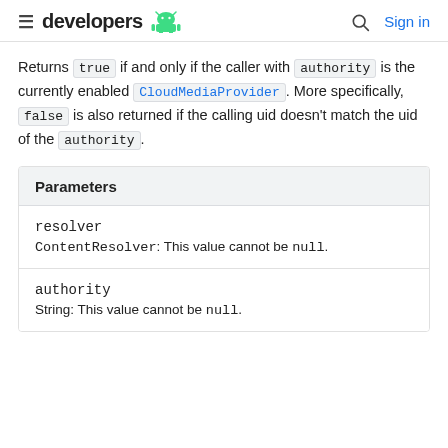developers  [android logo]  [search]  Sign in
Returns true if and only if the caller with authority is the currently enabled CloudMediaProvider. More specifically, false is also returned if the calling uid doesn't match the uid of the authority.
| Parameters |
| --- |
| resolver | ContentResolver: This value cannot be null. |
| authority | String: This value cannot be null. |